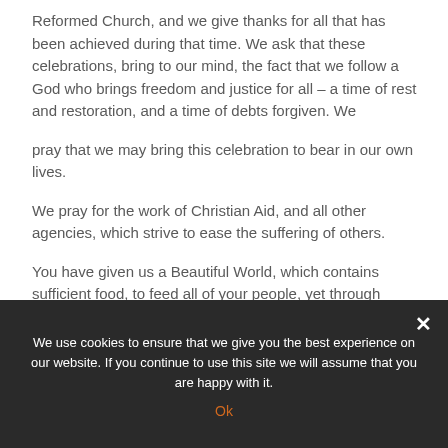Reformed Church, and we give thanks for all that has been achieved during that time. We ask that these celebrations, bring to our mind, the fact that we follow a God who brings freedom and justice for all – a time of rest and restoration, and a time of debts forgiven. We
pray that we may bring this celebration to bear in our own lives.
We pray for the work of Christian Aid, and all other agencies, which strive to ease the suffering of others.
You have given us a Beautiful World, which contains sufficient food, to feed all of your people, yet through
We use cookies to ensure that we give you the best experience on our website. If you continue to use this site we will assume that you are happy with it.
Ok